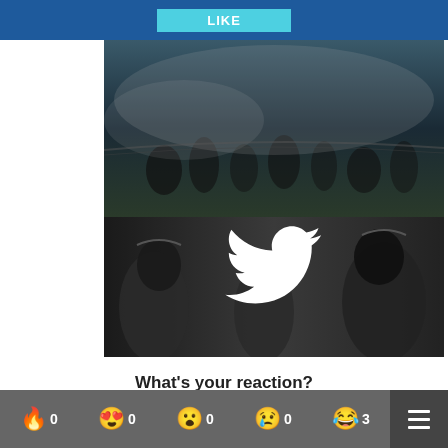[Figure (screenshot): LIKE button on blue bar]
[Figure (screenshot): PRESS TV on YouTube banner with background image of people near fence with smoke, YouTube logo and subscribe text]
[Figure (screenshot): Twitter follow banner with black and white background image of riot police, white Twitter bird logo, and FOLLOW button]
What's your reaction?
[Figure (infographic): Emoji reaction bar showing fire (0), heart eyes (0), surprised (0), crying (0), laughing (3) with hamburger menu]